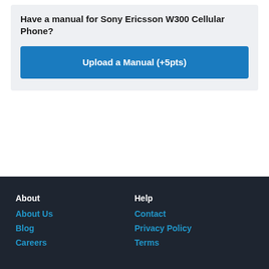Have a manual for Sony Ericsson W300 Cellular Phone?
Upload a Manual (+5pts)
About
About Us
Blog
Careers
Help
Contact
Privacy Policy
Terms